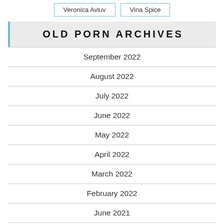Veronica Avluv
Vina Spice
OLD PORN ARCHIVES
September 2022
August 2022
July 2022
June 2022
May 2022
April 2022
March 2022
February 2022
June 2021